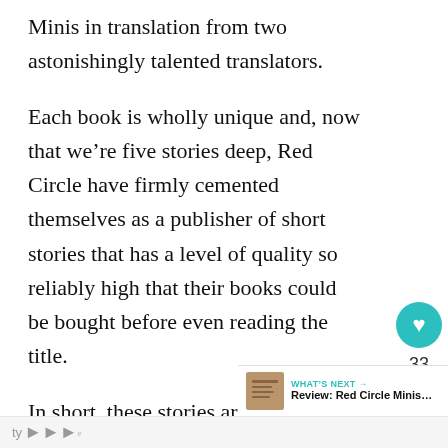Minis in translation from two astonishingly talented translators.
Each book is wholly unique and, now that we're five stories deep, Red Circle have firmly cemented themselves as a publisher of short stories that has a level of quality so reliably high that their books could be bought before even reading the title.
In short, these stories are excellent. They're fresh, vibrant, and have stunning co...